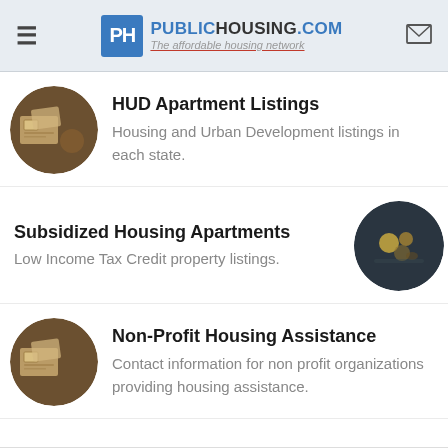PublicHousing.com — The affordable housing network
HUD Apartment Listings
Housing and Urban Development listings in each state.
Subsidized Housing Apartments
Low Income Tax Credit property listings.
Non-Profit Housing Assistance
Contact information for non profit organizations providing housing assistance.